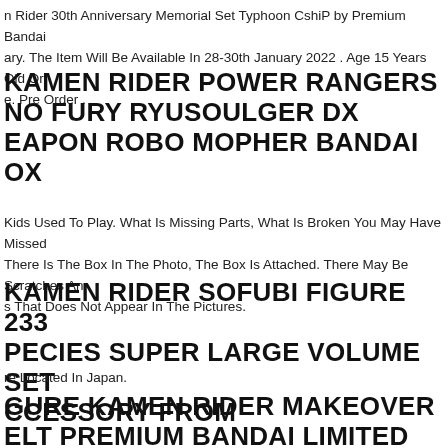n Rider 30th Anniversary Memorial Set Typhoon CshiP by Premium Bandai ary. The Item Will Be Available In 28-30th January 2022 . Age 15 Years Old Or e. Pre Order .
KAMEN RIDER POWER RANGERS NO FURY RYUSOULGER DX EAPON ROBO MOPHER BANDAI OX
Kids Used To Play. What Is Missing Parts, What Is Broken You May Have Missed There Is The Box In The Photo, The Box Is Attached. There May Be Scratches An s That Does Not Appear In The Pictures.
KAMEN RIDER SOFUBI FIGURE 233 PECIES SUPER LARGE VOLUME SET CCESSORY FROM
re Located In Japan.
GURE KAMEN RIDER MAKEOVER ELT PREMIUM BANDAI LIMITED REE SHIPPING NO.2383